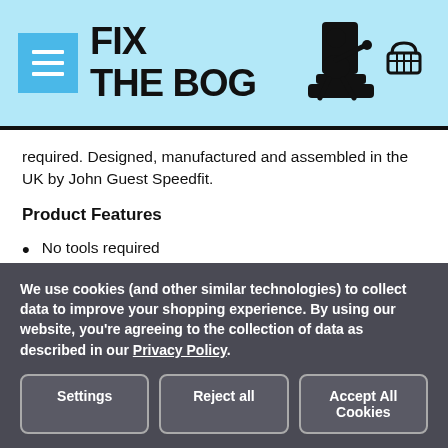[Figure (logo): Fix The Bog website header with menu icon, logo text FIX THE BOG, stick figure sitting on toilet, and shopping cart icon]
required. Designed, manufactured and assembled in the UK by John Guest Speedfit.
Product Features
No tools required
Push-fit and demountable connections
Suitable for hot and cold water
Central heating systems and plastic and copper pipe
We use cookies (and other similar technologies) to collect data to improve your shopping experience. By using our website, you're agreeing to the collection of data as described in our Privacy Policy.